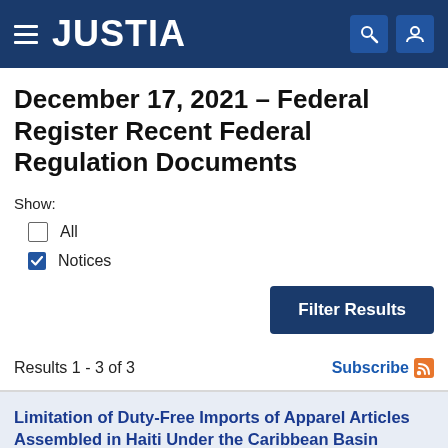JUSTIA
December 17, 2021 – Federal Register Recent Federal Regulation Documents
Show:
All
Notices
Filter Results
Results 1 - 3 of 3
Subscribe
Limitation of Duty-Free Imports of Apparel Articles Assembled in Haiti Under the Caribbean Basin